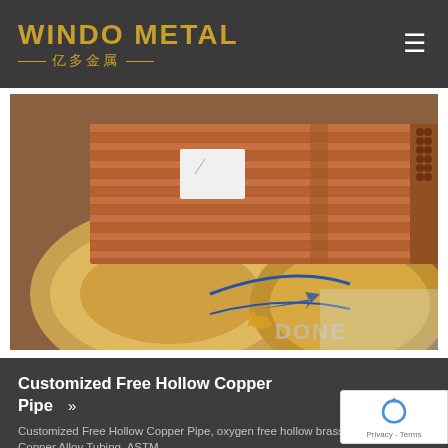WINDO METAL 亿多金属
[Figure (photo): Bundled copper pipes/tubes stacked on wooden spools, with a 'DONE' branded label visible on packaging. The copper tubes are reddish-brown in color, tightly bundled together.]
Customized Free Hollow Copper Pipe >>
Customized Free Hollow Copper Pipe, oxygen free hollow brass copper pipe, Copper Alloy Tubing, ASTM